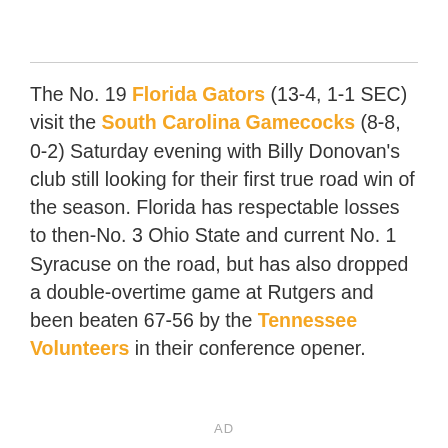The No. 19 Florida Gators (13-4, 1-1 SEC) visit the South Carolina Gamecocks (8-8, 0-2) Saturday evening with Billy Donovan's club still looking for their first true road win of the season. Florida has respectable losses to then-No. 3 Ohio State and current No. 1 Syracuse on the road, but has also dropped a double-overtime game at Rutgers and been beaten 67-56 by the Tennessee Volunteers in their conference opener.
AD